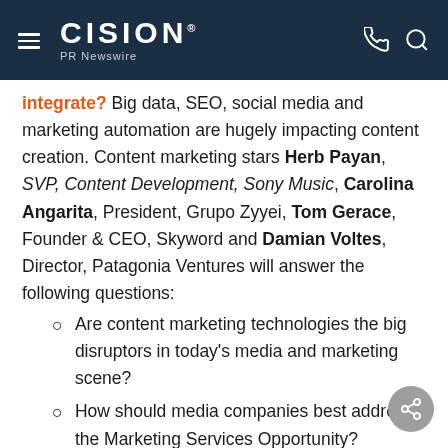CISION PR Newswire
integrate? Big data, SEO, social media and marketing automation are hugely impacting content creation. Content marketing stars Herb Payan, SVP, Content Development, Sony Music, Carolina Angarita, President, Grupo Zyyei, Tom Gerace, Founder & CEO, Skyword and Damian Voltes, Director, Patagonia Ventures will answer the following questions:
Are content marketing technologies the big disruptors in today's media and marketing scene?
How should media companies best address the Marketing Services Opportunity?